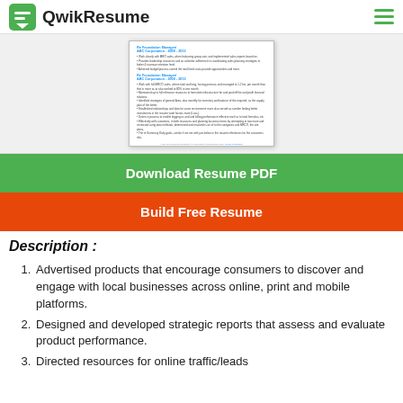QwikResume
[Figure (screenshot): Thumbnail preview of a resume document showing job title, company, and bullet points]
Download Resume PDF
Build Free Resume
Description :
Advertised products that encourage consumers to discover and engage with local businesses across online, print and mobile platforms.
Designed and developed strategic reports that assess and evaluate product performance.
Directed resources for online traffic/leads